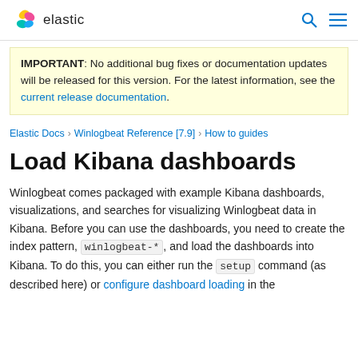elastic
IMPORTANT: No additional bug fixes or documentation updates will be released for this version. For the latest information, see the current release documentation.
Elastic Docs › Winlogbeat Reference [7.9] › How to guides
Load Kibana dashboards
Winlogbeat comes packaged with example Kibana dashboards, visualizations, and searches for visualizing Winlogbeat data in Kibana. Before you can use the dashboards, you need to create the index pattern, winlogbeat-*, and load the dashboards into Kibana. To do this, you can either run the setup command (as described here) or configure dashboard loading in the